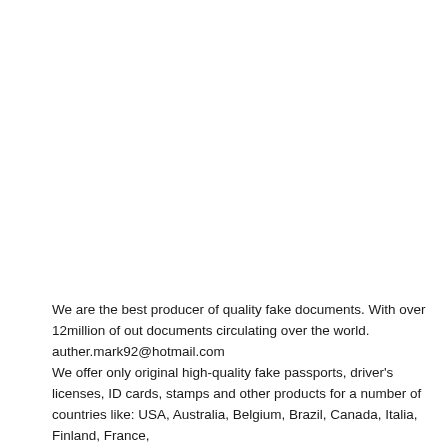We are the best producer of quality fake documents. With over 12million of out documents circulating over the world. auther.mark92@hotmail.com We offer only original high-quality fake passports, driver's licenses, ID cards, stamps and other products for a number of countries like: USA, Australia, Belgium, Brazil, Canada, Italia, Finland, France,